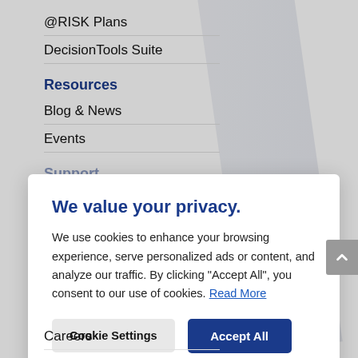@RISK Plans
DecisionTools Suite
Resources
Blog & News
Events
Support
We value your privacy.
We use cookies to enhance your browsing experience, serve personalized ads or content, and analyze our traffic. By clicking "Accept All", you consent to our use of cookies. Read More
Cookie Settings
Accept All
Careers